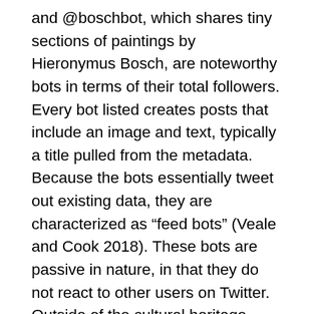and @boschbot, which shares tiny sections of paintings by Hieronymus Bosch, are noteworthy bots in terms of their total followers. Every bot listed creates posts that include an image and text, typically a title pulled from the metadata. Because the bots essentially tweet out existing data, they are characterized as “feed bots” (Veale and Cook 2018). These bots are passive in nature, in that they do not react to other users on Twitter. Outside of the cultural heritage realm, there are “watcher bots” that actively respond to the tweets of public Twitter users based on some criteria. For instance, @StealthMountain seeks out tweets with the phrase “sneak peak” and asks users if they've made a spelling mistake (e.g. “sneak peek”). In libraries and museums, it seems that this kind of interaction might be frowned upon as invasive as no instance of this type of bot in those environments exists. A 2012 study of academic library Twitter use broadly found that very few libraries use the social media platform for two-way conversation (Del Bosque et al. 2012). Beyond anecdotal evidence, there is no research showing why GLAMs have limited direct interaction with followers, but Twitter accounts managed by